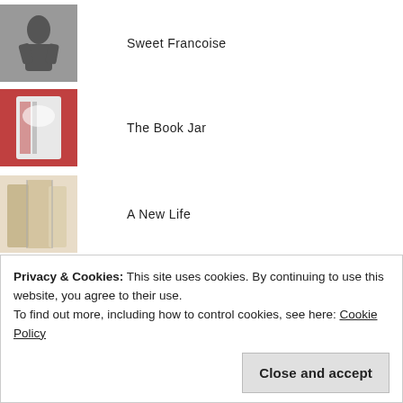Sweet Francoise
The Book Jar
A New Life
Interview with Tanya J. Peterson
Five books that changed the way I read
Privacy & Cookies: This site uses cookies. By continuing to use this website, you agree to their use.
To find out more, including how to control cookies, see here: Cookie Policy
Close and accept